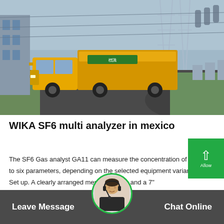[Figure (photo): A yellow truck/utility vehicle at an electrical substation with power transmission towers and high-voltage equipment in the background. The truck is on a paved road surrounded by green grass and industrial infrastructure.]
WIKA SF6 multi analyzer in mexico
The SF6 Gas analyst GA11 can measure the concentration of up to six parameters, depending on the selected equipment variant. Set up. A clearly arranged menu structure and a 7" colourtouchscreen for intuitive operation.
Leave Message   Chat Online